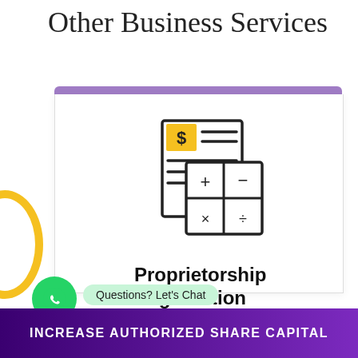Other Business Services
[Figure (illustration): Icon of financial documents with a dollar sign and a calculator grid showing plus, minus, multiply, divide symbols]
Proprietorship Registration
Questions? Let's Chat
Learn more >
INCREASE AUTHORIZED SHARE CAPITAL